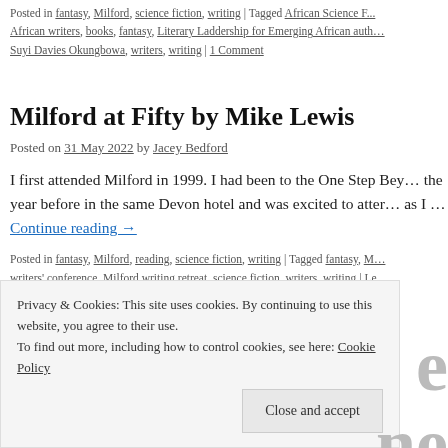Posted in fantasy, Milford, science fiction, writing | Tagged African Science Fiction, African writers, books, fantasy, Literary Laddership for Emerging African authors, Suyi Davies Okungbowa, writers, writing | 1 Comment
Milford at Fifty by Mike Lewis
Posted on 31 May 2022 by Jacey Bedford
I first attended Milford in 1999. I had been to the One Step Beyond the year before in the same Devon hotel and was excited to attend as I … Continue reading →
Posted in fantasy, Milford, reading, science fiction, writing | Tagged fantasy, Milford writers' conference, Milford writing retreat, science fiction, writers, writing | Le
Privacy & Cookies: This site uses cookies. By continuing to use this website, you agree to their use.
To find out more, including how to control cookies, see here: Cookie Policy
Close and accept
Magazines, Milford 1973 attendeesMark Adlard * Brian Aldiss...